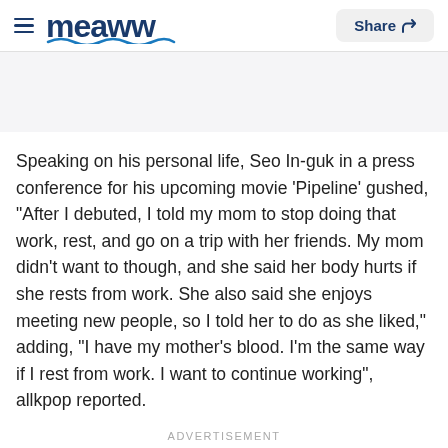meaww | Share
Speaking on his personal life, Seo In-guk in a press conference for his upcoming movie 'Pipeline' gushed, "After I debuted, I told my mom to stop doing that work, rest, and go on a trip with her friends. My mom didn't want to though, and she said her body hurts if she rests from work. She also said she enjoys meeting new people, so I told her to do as she liked," adding, "I have my mother's blood. I'm the same way if I rest from work. I want to continue working", allkpop reported.
ADVERTISEMENT